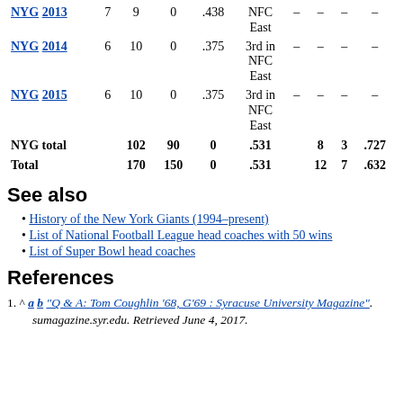| Team | Year | W | L | T | Pct | Division | – | – | – | – |
| --- | --- | --- | --- | --- | --- | --- | --- | --- | --- | --- |
| NYG | 2013 | 7 | 9 | 0 | .438 | NFC East | – | – | – | – |
| NYG | 2014 | 6 | 10 | 0 | .375 | 3rd in NFC East | – | – | – | – |
| NYG | 2015 | 6 | 10 | 0 | .375 | 3rd in NFC East | – | – | – | – |
| NYG total |  | 102 | 90 | 0 | .531 |  | 8 | 3 | .727 |  |
| Total |  | 170 | 150 | 0 | .531 |  | 12 | 7 | .632 |  |
See also
History of the New York Giants (1994–present)
List of National Football League head coaches with 50 wins
List of Super Bowl head coaches
References
1. ^ a b "Q & A: Tom Coughlin '68, G'69 : Syracuse University Magazine". sumagazine.syr.edu. Retrieved June 4, 2017.